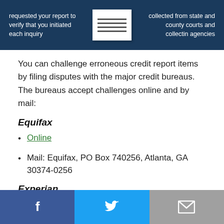[Figure (infographic): Dark blue banner with text on left 'requested your report to verify that you initiated each inquiry', a document icon in the center, and text on right 'collected from state and county courts and collectin agencies']
You can challenge erroneous credit report items by filing disputes with the major credit bureaus. The bureaus accept challenges online and by mail:
Equifax
Online
Mail: Equifax, PO Box 740256, Atlanta, GA 30374-0256
Experian
Online
[Figure (infographic): Social media sharing bar with Facebook, Twitter, and email icons]